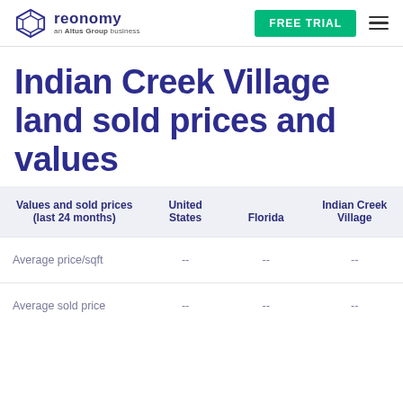reonomy an Altus Group business | FREE TRIAL
Indian Creek Village land sold prices and values
| Values and sold prices (last 24 months) | United States | Florida | Indian Creek Village |
| --- | --- | --- | --- |
| Average price/sqft | -- | -- | -- |
| Average sold price | -- | -- | -- |